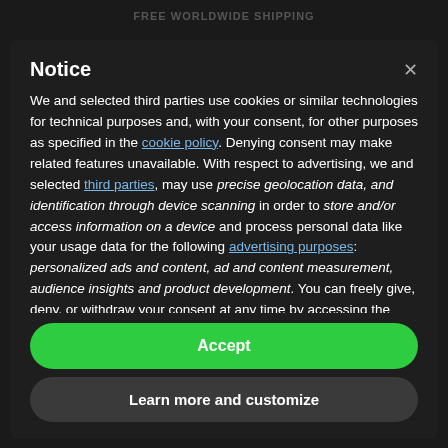FREE WORLDWIDE SHIPPING
Notice
We and selected third parties use cookies or similar technologies for technical purposes and, with your consent, for other purposes as specified in the cookie policy. Denying consent may make related features unavailable. With respect to advertising, we and selected third parties, may use precise geolocation data, and identification through device scanning in order to store and/or access information on a device and process personal data like your usage data for the following advertising purposes: personalized ads and content, ad and content measurement, audience insights and product development. You can freely give, deny, or withdraw your consent at any time by accessing the preferences panel.
Accept
Learn more and customize